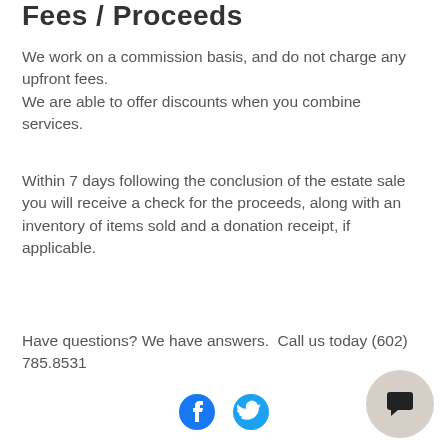Fees / Proceeds
We work on a commission basis, and do not charge any upfront fees.
We are able to offer discounts when you combine services.
Within 7 days following the conclusion of the estate sale you will receive a check for the proceeds, along with an inventory of items sold and a donation receipt, if applicable.
Have questions? We have answers.  Call us today (602) 785.8531
[Figure (illustration): Facebook and Twitter social media icons in blue]